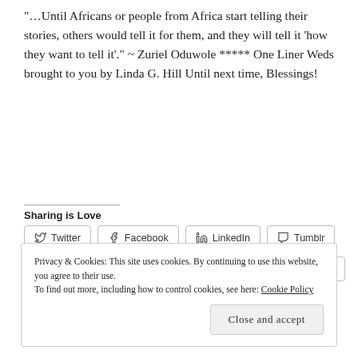"…Until Africans or people from Africa start telling their stories, others would tell it for them, and they will tell it 'how they want to tell it'." ~ Zuriel Oduwole ***** One Liner Weds brought to you by Linda G. Hill Until next time, Blessings!
Sharing is Love
Twitter | Facebook | LinkedIn | Tumblr | Pinterest | Telegram | WhatsApp | Email
Privacy & Cookies: This site uses cookies. By continuing to use this website, you agree to their use.
To find out more, including how to control cookies, see here: Cookie Policy
Close and accept